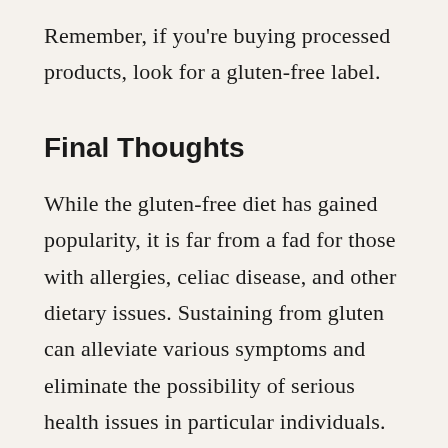Remember, if you're buying processed products, look for a gluten-free label.
Final Thoughts
While the gluten-free diet has gained popularity, it is far from a fad for those with allergies, celiac disease, and other dietary issues. Sustaining from gluten can alleviate various symptoms and eliminate the possibility of serious health issues in particular individuals.
For tips on how to live a gluten-free